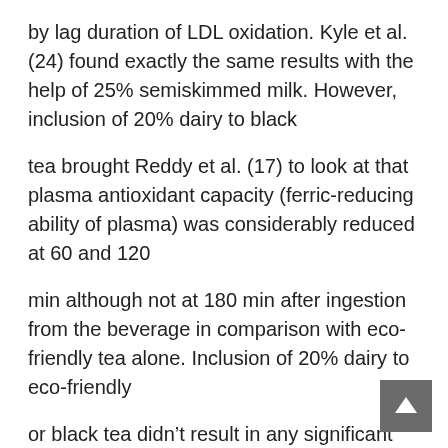by lag duration of LDL oxidation. Kyle et al. (24) found exactly the same results with the help of 25% semiskimmed milk. However, inclusion of 20% dairy to black
tea brought Reddy et al. (17) to look at that plasma antioxidant capacity (ferric-reducing ability of plasma) was considerably reduced at 60 and 120
min although not at 180 min after ingestion from the beverage in comparison with eco-friendly tea alone. Inclusion of 20% dairy to eco-friendly
or black tea didn't result in any significant alterations in ferric-reducing ability of plasma in contrast to tea alone inside a study
made by Leenen et al. (25). These contradictory findings do not let a obvious conclusion around the results of milk around the bioefficacy of polyphenols.